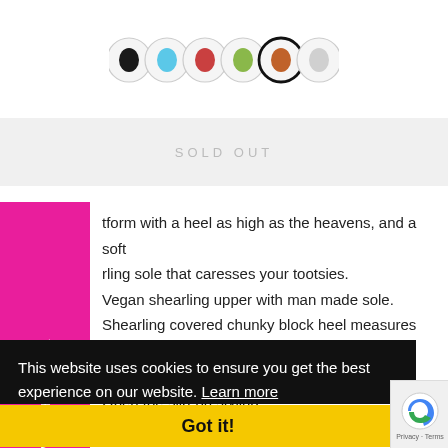[Figure (other): Six circular color swatch options for a shoe product: black, blue, red/coral, green, orange/rust (selected with thick border), white/grey]
SOLD OUT
EMAIL ME WHEN AVA
tform with a heel as high as the heavens, and a soft rling sole that caresses your tootsies.
Vegan shearling upper with man made sole.
Shearling covered chunky block heel measures approx. 5.75" H
Platform measures approx. 2" H
Open toe slip-on styling
Imported
This website uses cookies to ensure you get the best experience on our website. Learn more
Got it!
[Figure (other): reCAPTCHA logo with Privacy - Terms text]
[Figure (other): Bottom logo strip partially visible]